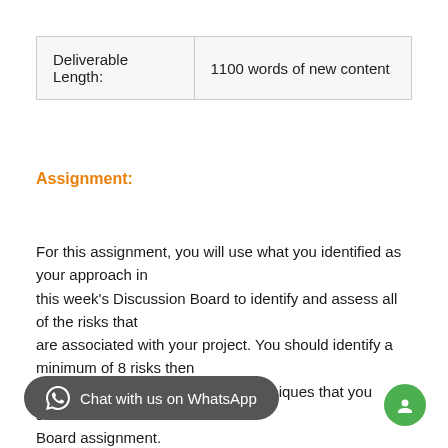| Deliverable Length: | 1100 words of new content |
Assignment:
For this assignment, you will use what you identified as your approach in this week's Discussion Board to identify and assess all of the risks that are associated with your project. You should identify a minimum of 8 risks then assess them by employing the techniques that you selected in the Discussion Board assignment.